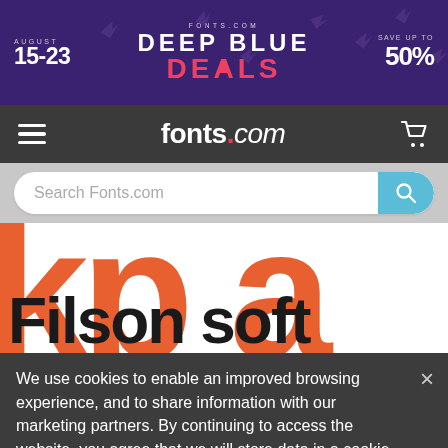[Figure (screenshot): Fonts.com website screenshot showing a Deep Blue Deals promotional banner (August 15-23, save up to 50%), navigation bar with hamburger menu and cart, search bar, Filson Soft font preview with large orange letters, and a cookie consent notice.]
AUGUST 15-23 | DEEP BLUE DEALS | SAVE UP TO 50%
fonts.com
Search Fonts.com
Filson soft
We use cookies to enable an improved browsing experience, and to share information with our marketing partners. By continuing to access the website, you agree that we will store data in a cookie as outlined in our Privacy Policy.